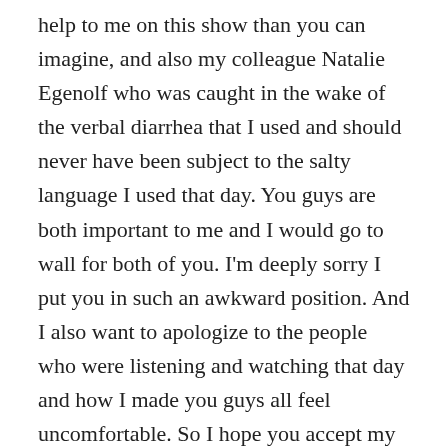help to me on this show than you can imagine, and also my colleague Natalie Egenolf who was caught in the wake of the verbal diarrhea that I used and should never have been subject to the salty language I used that day. You guys are both important to me and I would go to wall for both of you. I'm deeply sorry I put you in such an awkward position. And I also want to apologize to the people who were listening and watching that day and how I made you guys all feel uncomfortable. So I hope you accept my apology and I make a vow to never let it happen again, God willing."